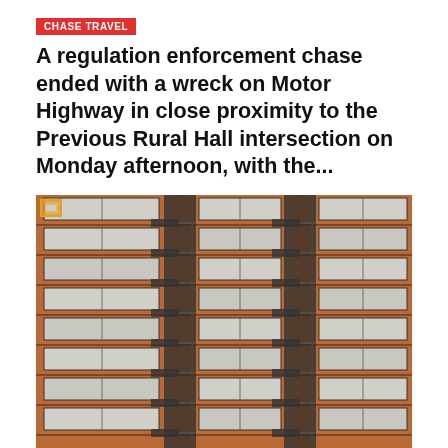CHASE TRAVEL
A regulation enforcement chase ended with a wreck on Motor Highway in close proximity to the Previous Rural Hall intersection on Monday afternoon, with the...
[Figure (photo): Exterior facade of a multi-story brick apartment building with balconies and fire escapes, viewed from below, red-brown brick, multiple rows of windows.]